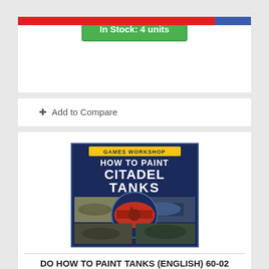[Figure (other): Progress bar with red and blue segments at top of card]
In Stock: 4 units
+ Add to Compare
[Figure (photo): Book cover: Games Workshop - How to Paint Citadel Tanks, showing various painted miniature tanks on a dark blue background]
DO HOW TO PAINT TANKS (ENGLISH) 60-02